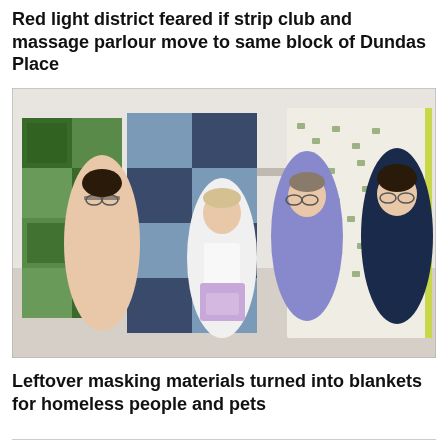Red light district feared if strip club and massage parlour move to same block of Dundas Place
[Figure (photo): Four women in a workshop holding up patchwork quilts and blankets made from leftover masking materials. The woman in the centre foreground holds a small lavender pouch. Behind them are sewing tables and supplies.]
Leftover masking materials turned into blankets for homeless people and pets